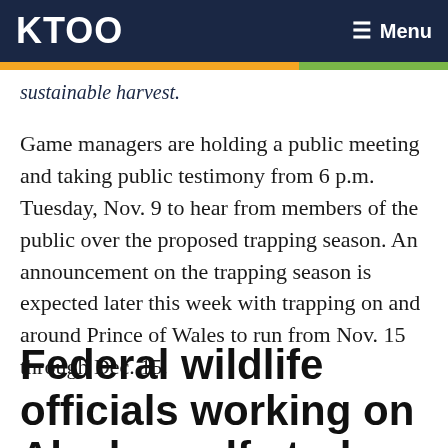KTOO  ☰ Menu
sustainable harvest.
Game managers are holding a public meeting and taking public testimony from 6 p.m. Tuesday, Nov. 9 to hear from members of the public over the proposed trapping season. An announcement on the trapping season is expected later this week with trapping on and around Prince of Wales to run from Nov. 15 through Dec. 15.
Federal wildlife officials working on Alaska wolf study